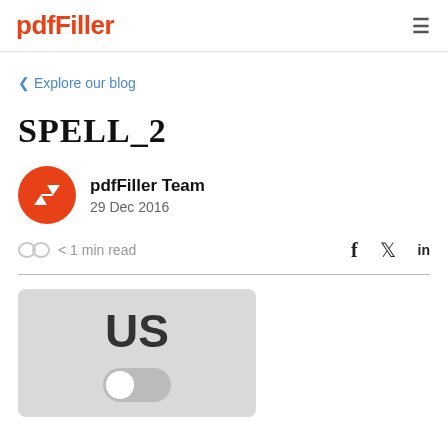pdfFiller
< Explore our blog
SPELL_2
pdfFiller Team
29 Dec 2016
< 1 min read
[Figure (illustration): Gray rounded rectangle showing 'US' text in dark bold font above a toggle switch (off position, knob on left side)]